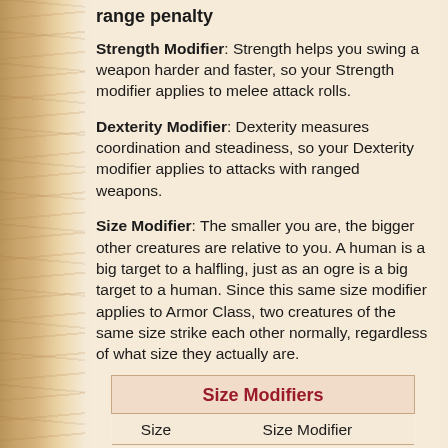range penalty
Strength Modifier: Strength helps you swing a weapon harder and faster, so your Strength modifier applies to melee attack rolls.
Dexterity Modifier: Dexterity measures coordination and steadiness, so your Dexterity modifier applies to attacks with ranged weapons.
Size Modifier: The smaller you are, the bigger other creatures are relative to you. A human is a big target to a halfling, just as an ogre is a big target to a human. Since this same size modifier applies to Armor Class, two creatures of the same size strike each other normally, regardless of what size they actually are.
| Size | Size Modifier |
| --- | --- |